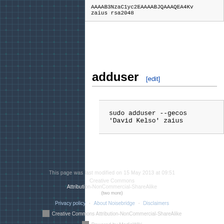AAAAB3NzaC1yc2EAAAABJQAAAQEA4Kv zaius rsa2048
adduser [edit]
sudo adduser --gecos 'David Kelso' zaius
Creative Commons Attribution-NonCommercial-ShareAlike
Privacy policy   About Noisebridge   Disclaimers
Creative Commons Attribution-NonCommercial-ShareAlike
Powered by MediaWiki